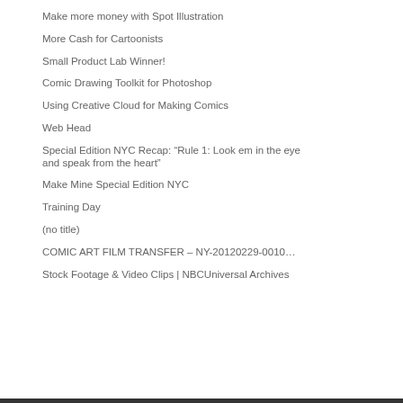Make more money with Spot Illustration
More Cash for Cartoonists
Small Product Lab Winner!
Comic Drawing Toolkit for Photoshop
Using Creative Cloud for Making Comics
Web Head
Special Edition NYC Recap: “Rule 1: Look em in the eye and speak from the heart”
Make Mine Special Edition NYC
Training Day
(no title)
COMIC ART FILM TRANSFER – NY-20120229-0010…
Stock Footage & Video Clips | NBCUniversal Archives